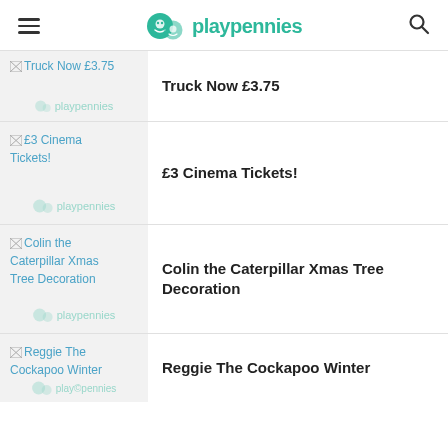playpennies
Truck Now £3.75
£3 Cinema Tickets!
Colin the Caterpillar Xmas Tree Decoration
Reggie The Cockapoo Winter